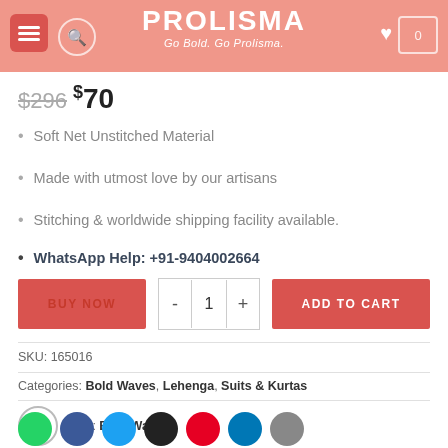PROLISMA — Go Bold. Go Prolisma.
$296  $70
Soft Net Unstitched Material
Made with utmost love by our artisans
Stitching & worldwide shipping facility available.
WhatsApp Help: +91-9404002664
BUY NOW  -  1  +  ADD TO CART
SKU: 165016
Categories: Bold Waves, Lehenga, Suits & Kurtas
Tags: Bold Waves